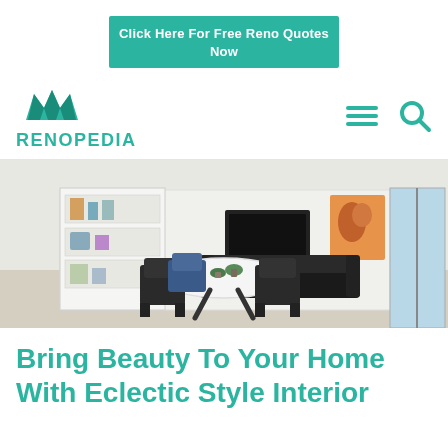Click Here For Free Reno Quotes Now
[Figure (logo): Renopedia logo with teal crown icon and teal text RENOPEDIA, plus hamburger menu and search icons]
[Figure (photo): Interior photo of a modern eclectic dining room with a round white marble table, black chairs, built-in white shelving unit with decorative items, black sofa, TV, and a colorful painting on the wall]
Bring Beauty To Your Home With Eclectic Style Interior